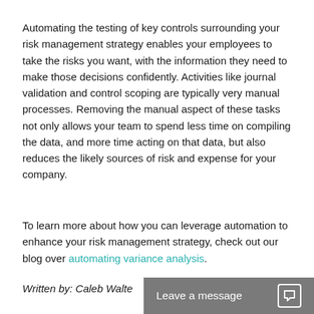Automating the testing of key controls surrounding your risk management strategy enables your employees to take the risks you want, with the information they need to make those decisions confidently. Activities like journal validation and control scoping are typically very manual processes. Removing the manual aspect of these tasks not only allows your team to spend less time on compiling the data, and more time acting on that data, but also reduces the likely sources of risk and expense for your company.
To learn more about how you can leverage automation to enhance your risk management strategy, check out our blog over automating variance analysis.
Written by: Caleb Walte